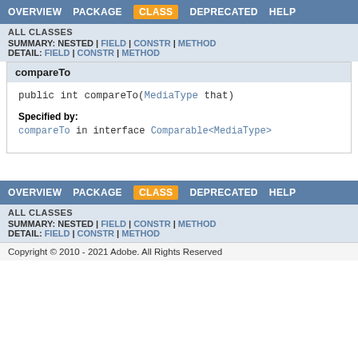OVERVIEW   PACKAGE   CLASS   DEPRECATED   HELP
ALL CLASSES
SUMMARY: NESTED | FIELD | CONSTR | METHOD
DETAIL: FIELD | CONSTR | METHOD
compareTo
public int compareTo(MediaType that)
Specified by:
compareTo in interface Comparable<MediaType>
OVERVIEW   PACKAGE   CLASS   DEPRECATED   HELP
ALL CLASSES
SUMMARY: NESTED | FIELD | CONSTR | METHOD
DETAIL: FIELD | CONSTR | METHOD
Copyright © 2010 - 2021 Adobe. All Rights Reserved